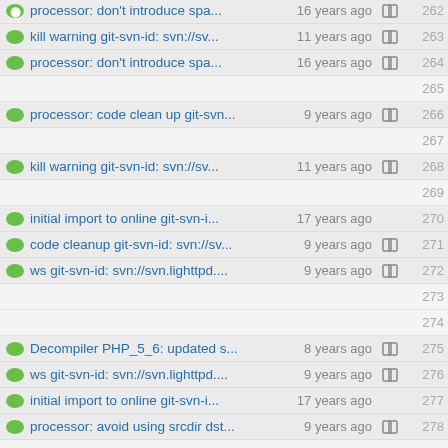processor: don't introduce spa... 16 years ago 262
kill warning git-svn-id: svn://sv... 11 years ago 263
processor: don't introduce spa... 16 years ago 264
265
processor: code clean up git-svn... 9 years ago 266
267
kill warning git-svn-id: svn://sv... 11 years ago 268
269
initial import to online git-svn-i... 17 years ago 270
code cleanup git-svn-id: svn://sv... 9 years ago 271
ws git-svn-id: svn://svn.lighttpd.... 9 years ago 272
273
274
Decompiler PHP_5_6: updated s... 8 years ago 275
ws git-svn-id: svn://svn.lighttpd.... 9 years ago 276
initial import to online git-svn-i... 17 years ago 277
processor: avoid using srcdir dst... 9 years ago 278
279
280
281
282
initial import to online git-svn-i... 17 years ago 283